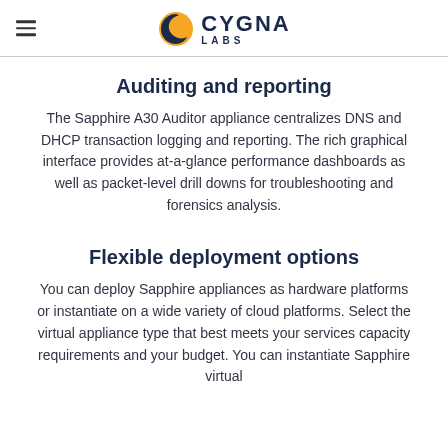CYGNA LABS
Auditing and reporting
The Sapphire A30 Auditor appliance centralizes DNS and DHCP transaction logging and reporting. The rich graphical interface provides at-a-glance performance dashboards as well as packet-level drill downs for troubleshooting and forensics analysis.
Flexible deployment options
You can deploy Sapphire appliances as hardware platforms or instantiate on a wide variety of cloud platforms. Select the virtual appliance type that best meets your services capacity requirements and your budget. You can instantiate Sapphire virtual